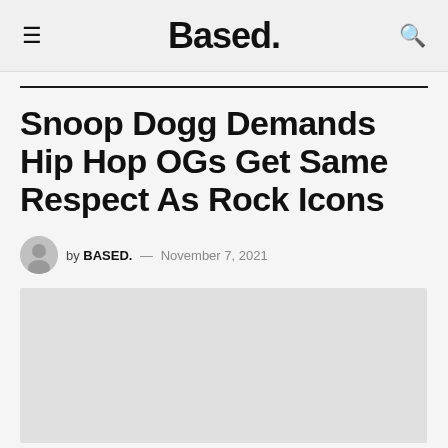Based.
Snoop Dogg Demands Hip Hop OGs Get Same Respect As Rock Icons
by BASED. — November 7, 2021
[Figure (photo): Gray placeholder image area for article photo]